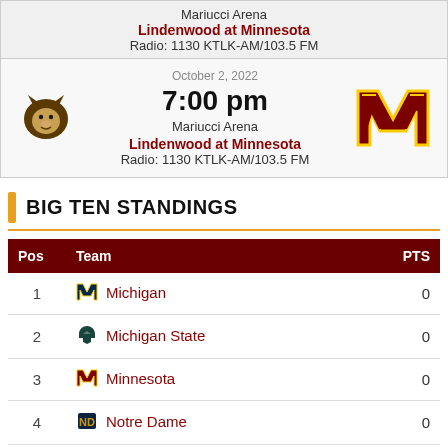Mariucci Arena
Lindenwood at Minnesota
Radio: 1130 KTLK-AM/103.5 FM
October 2, 2022
7:00 pm
Mariucci Arena
Lindenwood at Minnesota
Radio: 1130 KTLK-AM/103.5 FM
BIG TEN STANDINGS
| Pos | Team | PTS |
| --- | --- | --- |
| 1 | Michigan | 0 |
| 2 | Michigan State | 0 |
| 3 | Minnesota | 0 |
| 4 | Notre Dame | 0 |